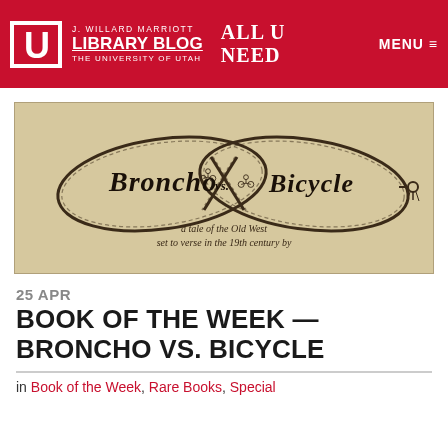J. WILLARD MARRIOTT LIBRARY BLOG — THE UNIVERSITY OF UTAH | ALL U NEED | MENU
[Figure (illustration): Book cover illustration for 'Broncho vs. Bicycle' — decorative rope forming an infinity/lasso shape with the title text inside, subtitle: 'a tale of the Old West set to verse in the 19th century by']
25 APR
BOOK OF THE WEEK — BRONCHO VS. BICYCLE
in Book of the Week, Rare Books, Special